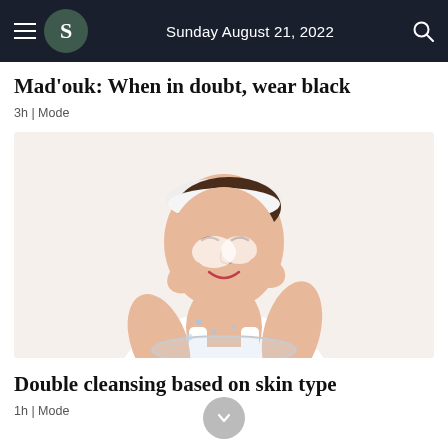Sunday August 21, 2022
Mad'ouk: When in doubt, wear black
3h | Mode
[Figure (photo): Woman washing her face with foam cleanser, wearing a white hair band, smiling, leaning over a clear bowl of water on a white background]
Double cleansing based on skin type
1h | Mode